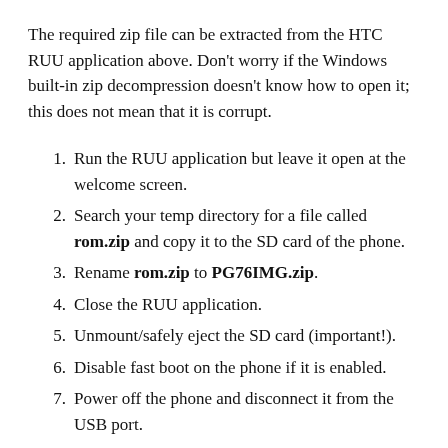The required zip file can be extracted from the HTC RUU application above. Don’t worry if the Windows built-in zip decompression doesn’t know how to open it; this does not mean that it is corrupt.
Run the RUU application but leave it open at the welcome screen.
Search your temp directory for a file called rom.zip and copy it to the SD card of the phone.
Rename rom.zip to PG76IMG.zip.
Close the RUU application.
Unmount/safely eject the SD card (important!).
Disable fast boot on the phone if it is enabled.
Power off the phone and disconnect it from the USB port.
Hold down the Volume Down button and power on